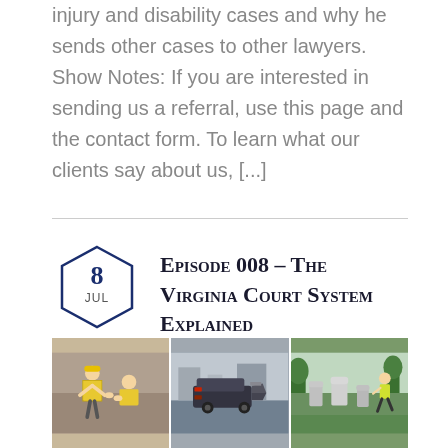injury and disability cases and why he sends other cases to other lawyers. Show Notes: If you are interested in sending us a referral, use this page and the contact form. To learn what our clients say about us, [...]
Episode 008 – The Virginia Court System Explained
8 Jul 2020
[Figure (photo): Three-panel image showing: workers in yellow vests on ground, a rear-end car collision, and a person in cemetery with gravestones]